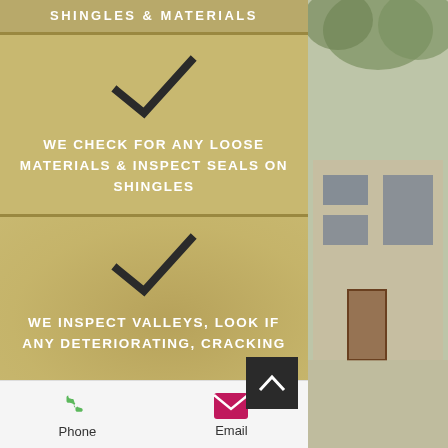SHINGLES & MATERIALS
WE CHECK FOR ANY LOOSE MATERIALS & INSPECT SEALS ON SHINGLES
WE INSPECT VALLEYS, LOOK IF ANY DETERIORATING, CRACKING
[Figure (infographic): Checkmark icons and inspection text on tan/gold background with partially visible person in background]
Phone
Email